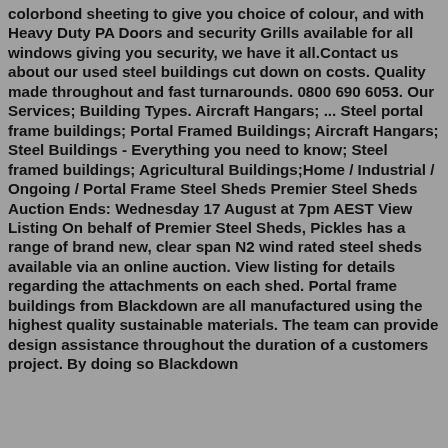colorbond sheeting to give you choice of colour, and with Heavy Duty PA Doors and security Grills available for all windows giving you security, we have it all.Contact us about our used steel buildings cut down on costs. Quality made throughout and fast turnarounds. 0800 690 6053. Our Services; Building Types. Aircraft Hangars; ... Steel portal frame buildings; Portal Framed Buildings; Aircraft Hangars; Steel Buildings - Everything you need to know; Steel framed buildings; Agricultural Buildings;Home / Industrial / Ongoing / Portal Frame Steel Sheds Premier Steel Sheds Auction Ends: Wednesday 17 August at 7pm AEST View Listing On behalf of Premier Steel Sheds, Pickles has a range of brand new, clear span N2 wind rated steel sheds available via an online auction. View listing for details regarding the attachments on each shed. Portal frame buildings from Blackdown are all manufactured using the highest quality sustainable materials. The team can provide design assistance throughout the duration of a customers project. By doing so Blackdown